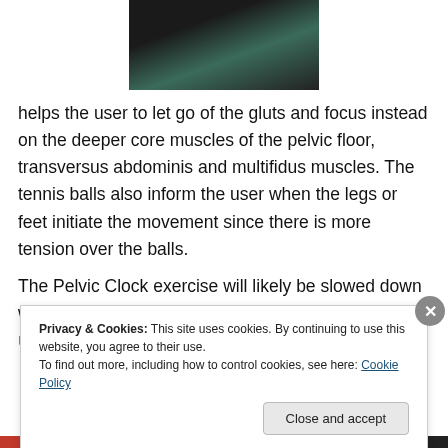[Figure (photo): Person lying on their back performing an exercise with a tennis ball under their legs/lower body on a dark surface]
helps the user to let go of the gluts and focus instead on the deeper core muscles of the pelvic floor, transversus abdominis and multifidus muscles. The tennis balls also inform the user when the legs or feet initiate the movement since there is more tension over the balls.
The Pelvic Clock exercise will likely be slowed down when using the tennis balls since it takes time to relax the
Privacy & Cookies: This site uses cookies. By continuing to use this website, you agree to their use.
To find out more, including how to control cookies, see here: Cookie Policy